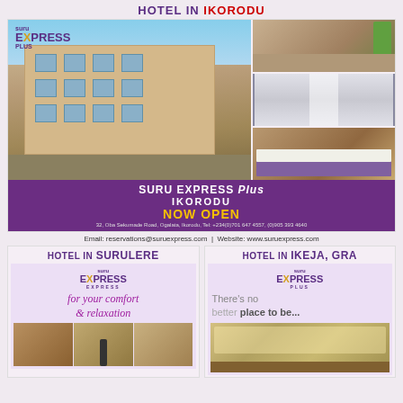HOTEL IN IKORODU
[Figure (photo): Suru Express Plus Ikorodu hotel building exterior and interior photos collage. Main large photo shows multi-storey hotel building. Three smaller photos on the right show another exterior view, a corridor, and a bedroom.]
SURU EXPRESS Plus IKORODU NOW OPEN
32, Oba Sekumade Road, Ogalata, Ikorodu, Tel: +234(0)701 647 4557, (0)905 393 4640
Email: reservations@suruexpress.com  |  Website: www.suruexpress.com
HOTEL IN SURULERE
[Figure (photo): Suru Express hotel Surulere ad with logo, tagline for your comfort & relaxation, and small hotel interior photos at bottom.]
HOTEL IN IKEJA, GRA
[Figure (photo): Suru Express Plus hotel Ikeja GRA ad with logo, tagline There's no better place to be..., and hotel room photo.]